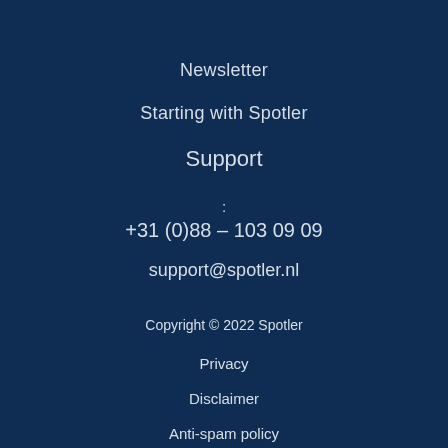Newsletter
Starting with Spotler
Support
:
+31 (0)88 – 103 09 09
support@spotler.nl
Copyright © 2022 Spotler
Privacy
Disclaimer
Anti-spam policy